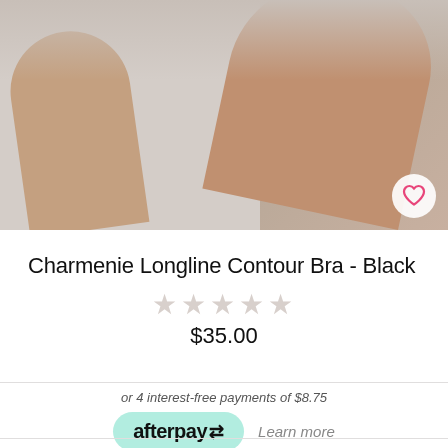[Figure (photo): Product photo of a model wearing a black Charmenie Longline Contour Bra, showing the lower body/torso area with a wishlist heart button in the bottom right corner]
Charmenie Longline Contour Bra - Black
★★★★★ (star rating, empty/unrated)
$35.00
or 4 interest-free payments of $8.75
[Figure (logo): Afterpay logo badge in mint green rounded rectangle]
Learn more